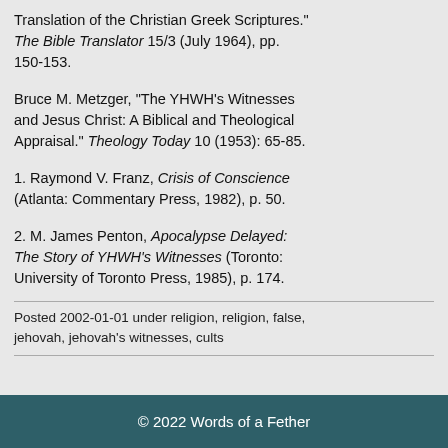Translation of the Christian Greek Scriptures." The Bible Translator 15/3 (July 1964), pp. 150-153.
Bruce M. Metzger, “The YHWH’s Witnesses and Jesus Christ: A Biblical and Theological Appraisal.” Theology Today 10 (1953): 65-85.
1. Raymond V. Franz, Crisis of Conscience (Atlanta: Commentary Press, 1982), p. 50.
2. M. James Penton, Apocalypse Delayed: The Story of YHWH’s Witnesses (Toronto: University of Toronto Press, 1985), p. 174.
Posted 2002-01-01 under religion, religion, false, jehovah, jehovah's witnesses, cults
© 2022 Words of a Fether